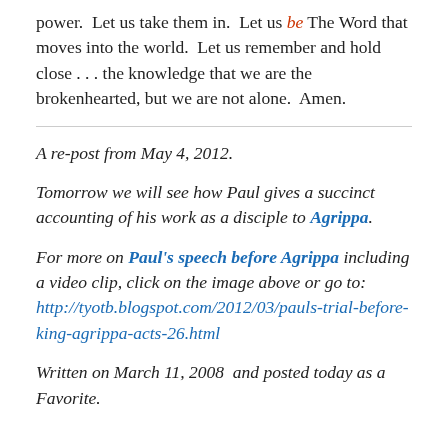power.  Let us take them in.  Let us be The Word that moves into the world.  Let us remember and hold close . . . the knowledge that we are the brokenhearted, but we are not alone.  Amen.
A re-post from May 4, 2012.
Tomorrow we will see how Paul gives a succinct accounting of his work as a disciple to Agrippa.
For more on Paul's speech before Agrippa including a video clip, click on the image above or go to: http://tyotb.blogspot.com/2012/03/pauls-trial-before-king-agrippa-acts-26.html
Written on March 11, 2008  and posted today as a Favorite.